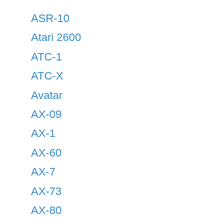ASR-10
Atari 2600
ATC-1
ATC-X
Avatar
AX-09
AX-1
AX-60
AX-7
AX-73
AX-80
Ax-Synth
AXIS-1